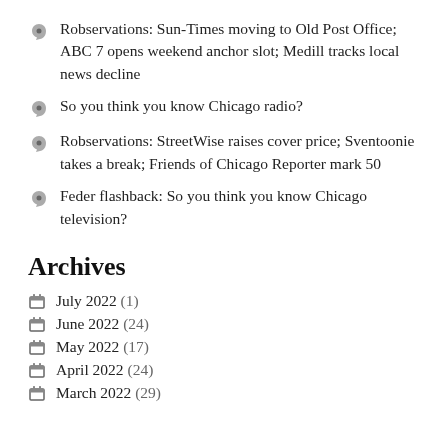Robservations: Sun-Times moving to Old Post Office; ABC 7 opens weekend anchor slot; Medill tracks local news decline
So you think you know Chicago radio?
Robservations: StreetWise raises cover price; Sventoonie takes a break; Friends of Chicago Reporter mark 50
Feder flashback: So you think you know Chicago television?
Archives
July 2022 (1)
June 2022 (24)
May 2022 (17)
April 2022 (24)
March 2022 (29)